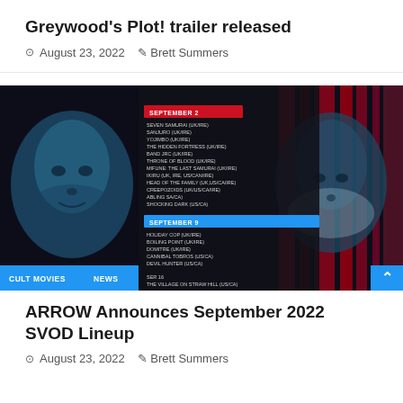Greywood's Plot! trailer released
August 23, 2022   Brett Summers
[Figure (photo): Promotional image for ARROW September 2022 SVOD lineup showing faces of actors overlaid on red and blue tinted background with movie listing schedule text. Tags: CULT MOVIES | NEWS]
ARROW Announces September 2022 SVOD Lineup
August 23, 2022   Brett Summers